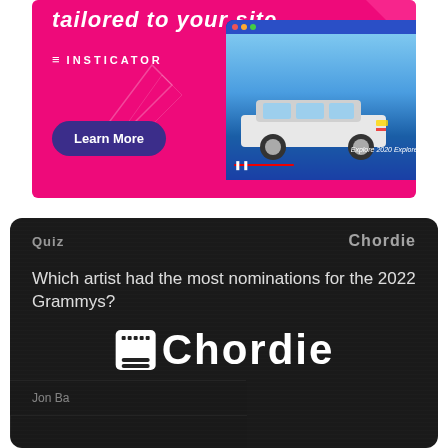[Figure (illustration): Advertisement banner for Insticator with hot pink background, showing tablet screen with Ford Explorer 2020 ad, 'tailored to your site' headline, Insticator logo, and 'Learn More' button.]
[Figure (screenshot): Dark quiz card from Chordie website. Header shows 'Quiz' label and 'Chordie' brand. Question reads 'Which artist had the most nominations for the 2022 Grammys?' with Chordie logo overlay and partially visible answer options including 'Jon Ba...' and 'Bieber'.]